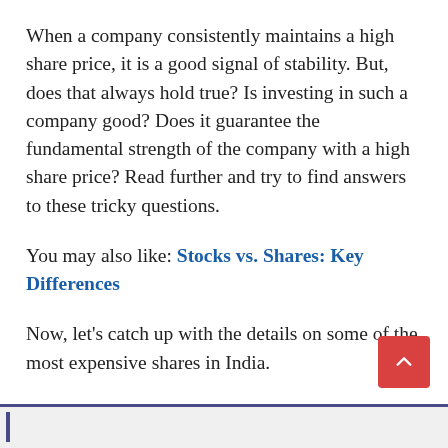When a company consistently maintains a high share price, it is a good signal of stability. But, does that always hold true? Is investing in such a company good? Does it guarantee the fundamental strength of the company with a high share price? Read further and try to find answers to these tricky questions.
You may also like: Stocks vs. Shares: Key Differences
Now, let's catch up with the details on some of the most expensive shares in India.